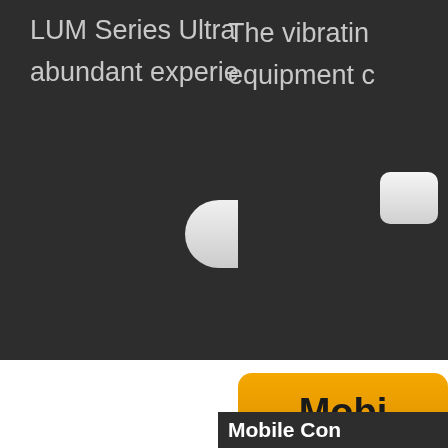LUM Series Ultrafine Vertical Roller Mill adopts SBM abundant experience in producing v
More Details
The vibratin equipment c
Mobi
[Figure (photo): A mobile crushing/conveying unit on a truck trailer, parked outside an industrial building with trees in background]
Mobile Con